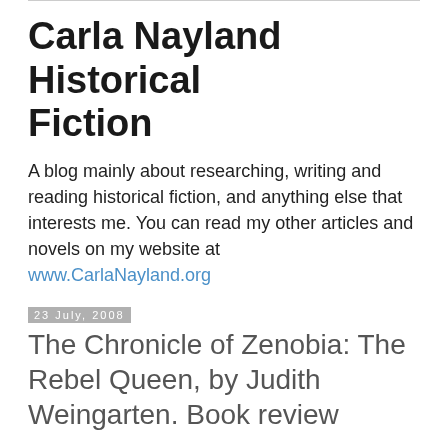Carla Nayland Historical Fiction
A blog mainly about researching, writing and reading historical fiction, and anything else that interests me. You can read my other articles and novels on my website at www.CarlaNayland.org
23 July, 2008
The Chronicle of Zenobia: The Rebel Queen, by Judith Weingarten. Book review
Edition reviewed: Vanguard Press 2006, ISBN 1-84386-219-0
In the 3rd century AD, Zenobia, the Queen of Palmyra (in